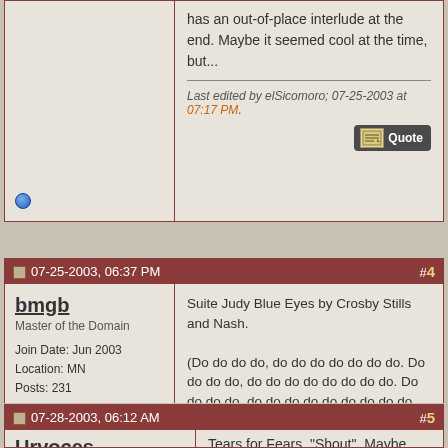has an out-of-place interlude at the end. Maybe it seemed cool at the time, but...
Last edited by elSicomoro; 07-25-2003 at 07:17 PM.
#4  07-25-2003, 06:37 PM
bmgb
Master of the Domain
Join Date: Jun 2003
Location: MN
Posts: 231
Suite Judy Blue Eyes by Crosby Stills and Nash.

(Do do do do, do do do do do do do. Do do do do, do do do do do do do do. Do do do do, do do do do do do do do. Do do do do, do do do do do do do do do. Do do do do, do do do do do do do do do........)

That gun will replace your tongue. You will learn to speak through it. And your poetry will be written in blood.
- Nobody
#5  07-28-2003, 06:12 AM
Urvoces
Tears for Fears, "Shout". Maybe